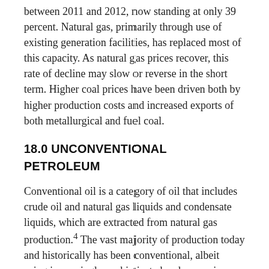between 2011 and 2012, now standing at only 39 percent. Natural gas, primarily through use of existing generation facilities, has replaced most of this capacity. As natural gas prices recover, this rate of decline may slow or reverse in the short term. Higher coal prices have been driven both by higher production costs and increased exports of both metallurgical and fuel coal.
18.0 UNCONVENTIONAL PETROLEUM
Conventional oil is a category of oil that includes crude oil and natural gas liquids and condensate liquids, which are extracted from natural gas production.4 The vast majority of production today and historically has been conventional, albeit using increasingly sophisticated and expensive methods. The most important technical extensions to conventional production have been deep offshore drilling and so-called "enhanced recovery techniques" such as well pressurization and